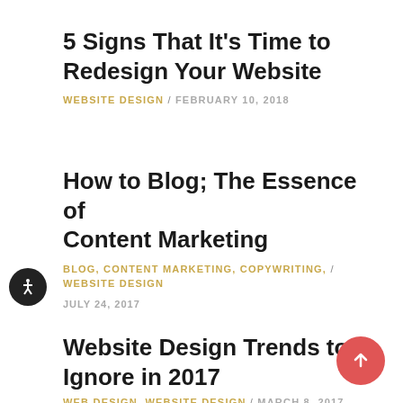5 Signs That It’s Time to Redesign Your Website
WEBSITE DESIGN / FEBRUARY 10, 2018
How to Blog; The Essence of Content Marketing
BLOG, CONTENT MARKETING, COPYWRITING, / WEBSITE DESIGN
JULY 24, 2017
Website Design Trends to Ignore in 2017
WEB DESIGN, WEBSITE DESIGN / MARCH 8, 2017